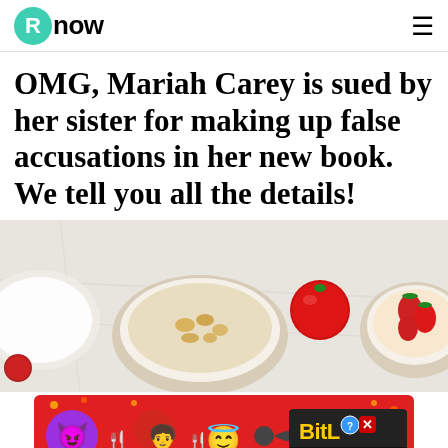Rnow
OMG, Mariah Carey is sued by her sister for making up false accusations in her new book. We tell you all the details!
[Figure (photo): Close-up photo of food bowls — a bowl of mac and cheese, a tomato, and a bowl of food with red berries/strawberries on a white marble surface]
[Figure (screenshot): Advertisement banner for BitLife game — red background with emojis (devil, person, angel, sperm) and text 'BitLife REAL CHOICES']